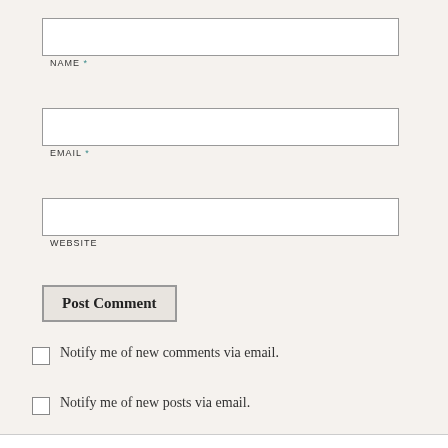NAME *
EMAIL *
WEBSITE
Post Comment
Notify me of new comments via email.
Notify me of new posts via email.
Privacy & Cookies: This site uses cookies. By continuing to use this website, you agree to their use.
To find out more, including how to control cookies, see here: Cookie Policy
Close and accept